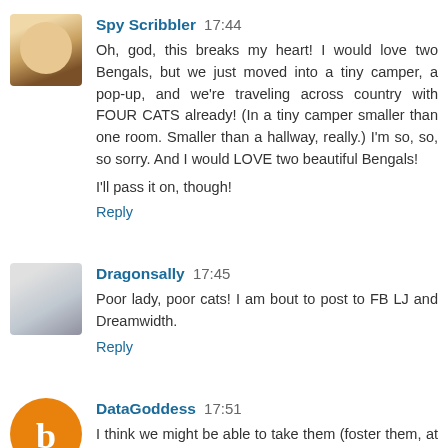[Figure (photo): Avatar photo of Spy Scribbler - woman with blonde hair outdoors]
Spy Scribbler 17:44
Oh, god, this breaks my heart! I would love two Bengals, but we just moved into a tiny camper, a pop-up, and we're traveling across country with FOUR CATS already! (In a tiny camper smaller than one room. Smaller than a hallway, really.) I'm so, so, so sorry. And I would LOVE two beautiful Bengals!

I'll pass it on, though!
Reply
[Figure (photo): Avatar photo of Dragonsally]
Dragonsally 17:45
Poor lady, poor cats! I am bout to post to FB LJ and Dreamwidth.
Reply
[Figure (logo): Blogger orange circle logo with B]
DataGoddess 17:51
I think we might be able to take them (foster them, at least